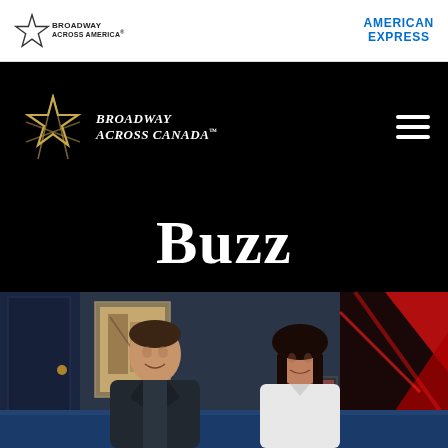[Figure (logo): Broadway Across America logo with star icon and text]
[Figure (logo): American Express logo in blue text]
[Figure (logo): Broadway Across Canada logo with gold star on black navigation bar]
Buzz
[Figure (photo): Two people sitting on a blue booth seat in a restaurant/lounge setting. A man in a dark suit on the left and a woman in a white top with long dark hair on the right. Red geometric art installation visible on the right side of the background.]